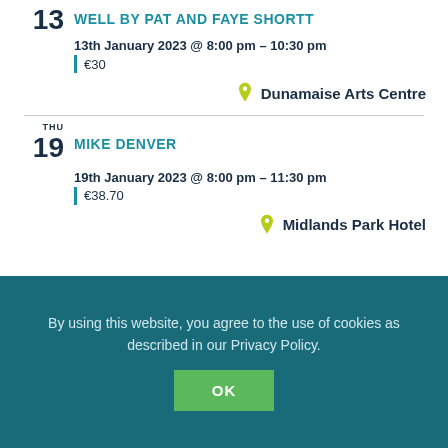13 WELL BY PAT AND FAYE SHORTT
13th January 2023 @ 8:00 pm – 10:30 pm | €30
Dunamaise Arts Centre
THU 19 MIKE DENVER
19th January 2023 @ 8:00 pm – 11:30 pm | €38.70
Midlands Park Hotel
By using this website, you agree to the use of cookies as described in our Privacy Policy.